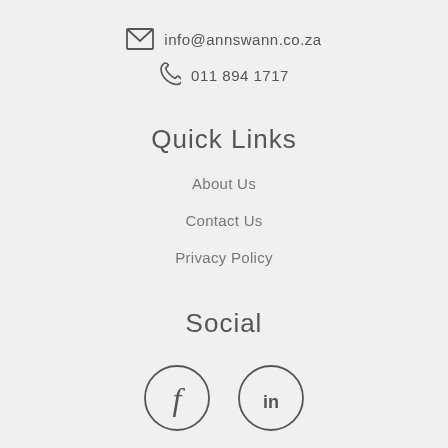info@annswann.co.za
011 894 1717
Quick Links
About Us
Contact Us
Privacy Policy
Social
[Figure (illustration): Facebook and LinkedIn social media icons in circles]